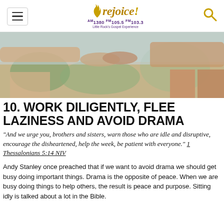Rejoice! AM 1380 FM 105.5 FM 103.3 — Little Rock's Gospel Experience
[Figure (photo): Hero photo showing two people holding hands outdoors, cropped to show arms and legs with blurred background of greenery and sky.]
10. WORK DILIGENTLY, FLEE LAZINESS AND AVOID DRAMA
“And we urge you, brothers and sisters, warn those who are idle and disruptive, encourage the disheartened, help the week, be patient with everyone.” 1 Thessalonians 5:14 NIV
Andy Stanley once preached that if we want to avoid drama we should get busy doing important things. Drama is the opposite of peace. When we are busy doing things to help others, the result is peace and purpose. Sitting idly is talked about a lot in the Bible.